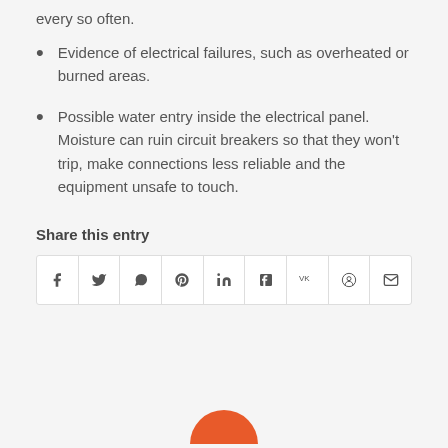every so often.
Evidence of electrical failures, such as overheated or burned areas.
Possible water entry inside the electrical panel. Moisture can ruin circuit breakers so that they won't trip, make connections less reliable and the equipment unsafe to touch.
Share this entry
[Figure (other): Social sharing icons row: Facebook, Twitter, WhatsApp, Pinterest, LinkedIn, Tumblr, VK, Reddit, Email]
[Figure (other): Orange circle partially visible at bottom of page]